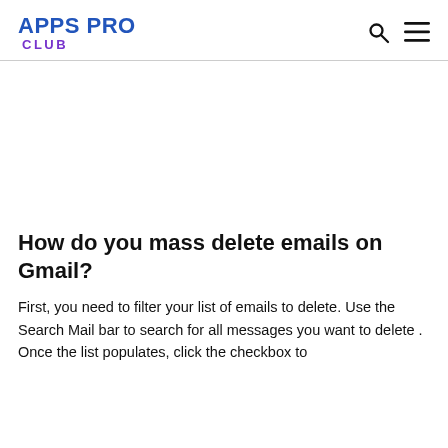APPS PRO CLUB
How do you mass delete emails on Gmail?
First, you need to filter your list of emails to delete. Use the Search Mail bar to search for all messages you want to delete. Once the list populates, click the checkbox to